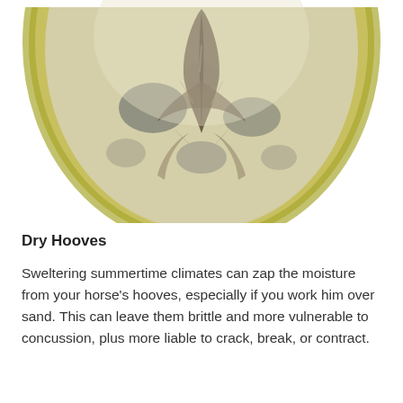[Figure (photo): Close-up bottom view of a horse hoof showing the sole, frog, and wall. The hoof has yellowish-green outer wall with dark grey and cream-colored sole, and a central frog structure pointing downward.]
Dry Hooves
Sweltering summertime climates can zap the moisture from your horse's hooves, especially if you work him over sand. This can leave them brittle and more vulnerable to concussion, plus more liable to crack, break, or contract.